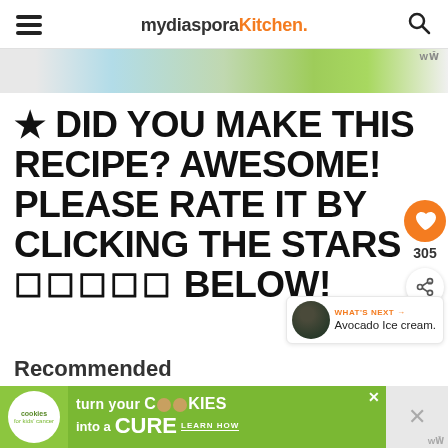mydiasporaKitchen.
[Figure (photo): Partial view of food/recipe images in a horizontal strip]
★ DID YOU MAKE THIS RECIPE? AWESOME! PLEASE RATE IT BY CLICKING THE STARS ☐☐☐☐☐ BELOW!
305
WHAT'S NEXT → Avocado Ice cream.
Recommended
[Figure (infographic): Cookies for Kids Cancer advertisement banner: turn your COOKIES into a CURE LEARN HOW]